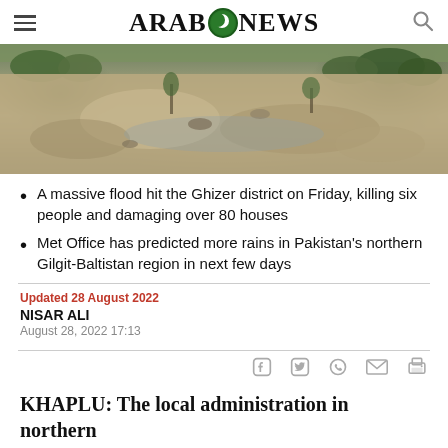ARAB NEWS
[Figure (photo): Aerial view of a flood-damaged area showing sandy/rocky floodplain with sparse trees and damaged landscape in the Khaplu/Ghizer district region of northern Pakistan]
A massive flood hit the Ghizer district on Friday, killing six people and damaging over 80 houses
Met Office has predicted more rains in Pakistan's northern Gilgit-Baltistan region in next few days
Updated 28 August 2022
NISAR ALI
August 28, 2022 17:13
KHAPLU: The local administration in northern